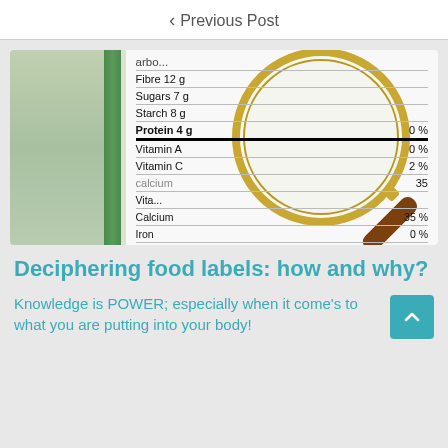< Previous Post
[Figure (photo): A magnifying glass held over a nutrition facts label on a food product, showing entries for Fibre 12g, Sugars 7g, Starch 8g, Protein 4g (0%), Vitamin A (0%), Vitamin C (2%), Calcium (35%), Iron (0%), Vitamin D (50%).]
Deciphering food labels: how and why?
Knowledge is POWER; especially when it come's to what you are putting into your body!